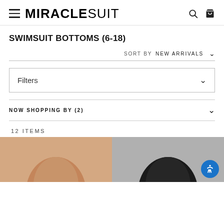MIRACLESUIT
SWIMSUIT BOTTOMS (6-18)
SORT BY  NEW ARRIVALS
Filters
NOW SHOPPING BY (2)
12 ITEMS
[Figure (photo): Two product images of swimsuit bottoms, partially visible at bottom of page. Left image shows skin-toned/brown swimsuit bottom, right image shows black swimsuit bottom.]